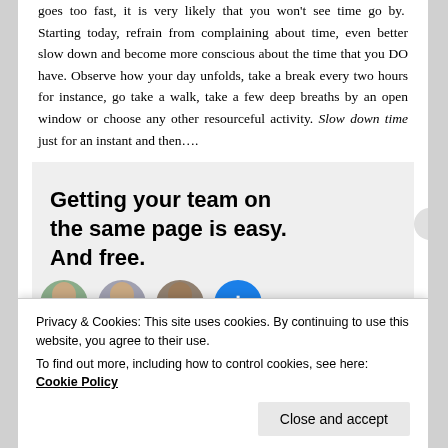goes too fast, it is very likely that you won't see time go by. Starting today, refrain from complaining about time, even better slow down and become more conscious about the time that you DO have. Observe how your day unfolds, take a break every two hours for instance, go take a walk, take a few deep breaths by an open window or choose any other resourceful activity. Slow down time just for an instant and then….
[Figure (screenshot): An advertisement banner with bold text: 'Getting your team on the same page is easy. And free.' followed by circular avatar photos of three people and a blue plus button.]
Privacy & Cookies: This site uses cookies. By continuing to use this website, you agree to their use.
To find out more, including how to control cookies, see here: Cookie Policy